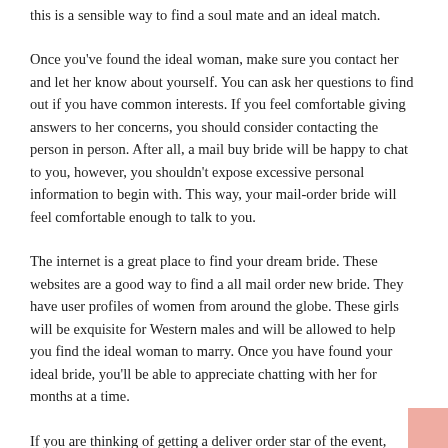this is a sensible way to find a soul mate and an ideal match.
Once you've found the ideal woman, make sure you contact her and let her know about yourself. You can ask her questions to find out if you have common interests. If you feel comfortable giving answers to her concerns, you should consider contacting the person in person. After all, a mail buy bride will be happy to chat to you, however, you shouldn't expose excessive personal information to begin with. This way, your mail-order bride will feel comfortable enough to talk to you.
The internet is a great place to find your dream bride. These websites are a good way to find a all mail order new bride. They have user profiles of women from around the globe. These girls will be exquisite for Western males and will be allowed to help you find the ideal woman to marry. Once you have found your ideal bride, you'll be able to appreciate chatting with her for months at a time.
If you are thinking of getting a deliver order star of the event, you'll need to make a convincing profile. A mailbox order bride-to-be is looking for men who is dependable and content. While a male might be timid and unconfident, a woman in this category wishes